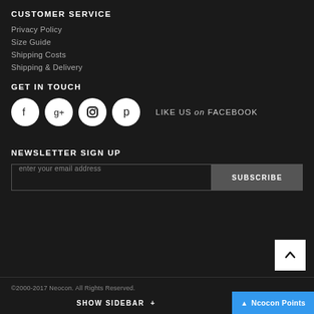CUSTOMER SERVICE
Privacy Policy
Size Guide
Shipping Costs
Shipping & Delivery
GET IN TOUCH
[Figure (infographic): Social media icon circles for Facebook, Google+, Instagram, Pinterest, and text LIKE US on FACEBOOK]
NEWSLETTER SIGN UP
enter your email address
SUBSCRIBE
©2000-2017 Neocon. All Rights Reserved.
SHOW SIDEBAR +
Ncocon Points